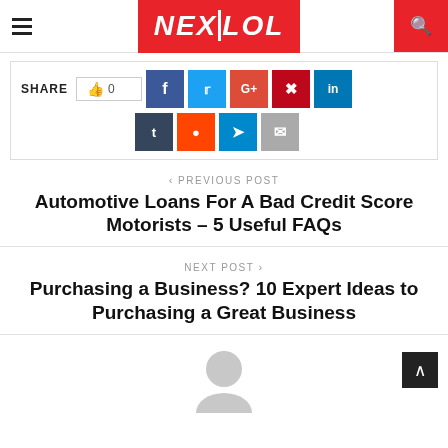NEXTLOL
SHARE | 0 | f | t | G+ | p | in | t | reddit | telegram | email
< PREVIOUS POST
Automotive Loans For A Bad Credit Score Motorists – 5 Useful FAQs
NEXT POST >
Purchasing a Business? 10 Expert Ideas to Purchasing a Great Business
[Figure (illustration): Partial avatar/profile icon silhouette in light gray, cropped at bottom of page]